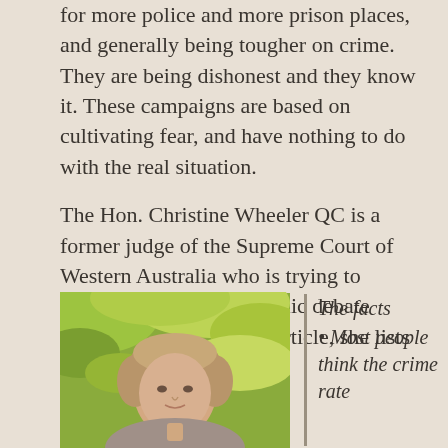for more police and more prison places, and generally being tougher on crime. They are being dishonest and they know it. These campaigns are based on cultivating fear, and have nothing to do with the real situation.
The Hon. Christine Wheeler QC is a former judge of the Supreme Court of Western Australia who is trying to promote constructive public debate about crime. In a recent article, she lists these facts:
[Figure (photo): Portrait photo of The Hon. Christine Wheeler QC, a woman with shoulder-length brown hair, outdoors with green foliage in background.]
The facts • Most people think the crime rate